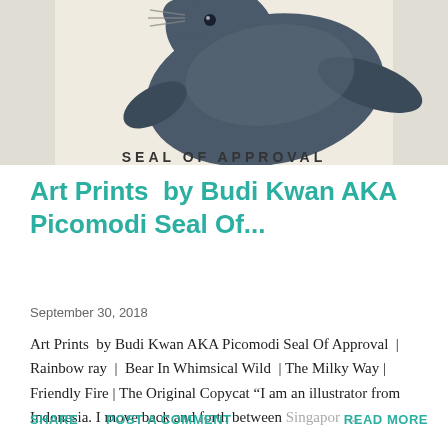[Figure (photo): Partial view of an art print showing a seal/sea animal on a cream/beige background with text 'SEAL OF APPROVAL' partially visible at the bottom edge]
Art Prints  by Budi Kwan AKA Picomodi Seal Of...
September 30, 2018
Art Prints  by Budi Kwan AKA Picomodi Seal Of Approval  |  Rainbow ray  |  Bear In Whimsical Wild  | The Milky Way | Friendly Fire | The Original Copycat “I am an illustrator from Indonesia. I move back and forth between Singapor…
SHARE   POST A COMMENT   READ MORE